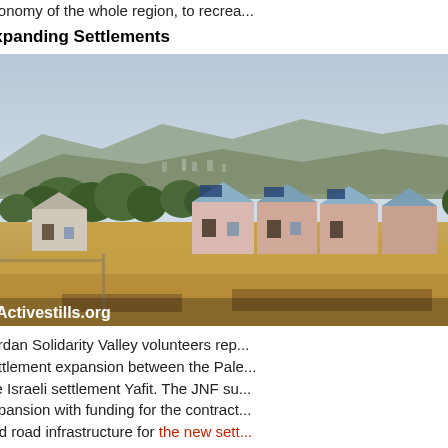economy of the whole region, to recrea...
Expanding Settlements
[Figure (photo): Aerial/ground-level view of an Israeli settlement (Yafit) showing residential houses with orange/pink roofs on arid sandy land, trees, and mountains in the background. Photo credit: Activestills.org]
Jordan Solidarity Valley volunteers rep... settlement expansion between the Pale... the Israeli settlement Yafit. The JNF su... expansion with funding for the contract... and road infrastructure for the new sett...
Water
The Tirza Reservoir, built by the JN... collects the flood waters of the largest... Wadi... Tirza... An the...